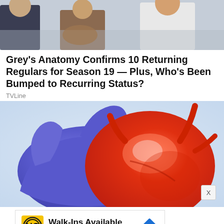[Figure (photo): Top portion showing people in medical coats, partially cropped]
Grey's Anatomy Confirms 10 Returning Regulars for Season 19 — Plus, Who's Been Bumped to Recurring Status?
TVLine
[Figure (photo): Medical gloved hand (blue nitrile glove) holding a red human heart or organ model]
[Figure (infographic): Advertisement: Walk-Ins Available - Hair Cuttery, with HC logo and navigation arrow]